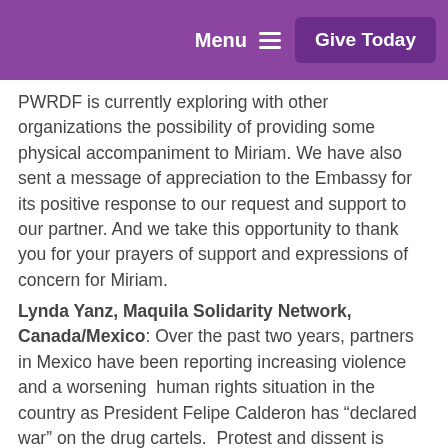Menu  Give Today
PWRDF is currently exploring with other organizations the possibility of providing some physical accompaniment to Miriam.  We have also sent a message of appreciation to the Embassy for its positive response to our request and support to our partner.  And we take this opportunity to thank you for your prayers of support and expressions of concern for Miriam.
Lynda Yanz, Maquila Solidarity Network, Canada/Mexico: Over the past two years, partners in Mexico have been reporting increasing violence and a worsening  human rights situation in the country as President Felipe Calderon has “declared war” on the drug cartels.  Protest and dissent is being criminalized and Mexico’s social movements find themselves under attack.  That persecution reached into Canada recently when Lynda Yanz of PWRDF partner, the Maquila Solidarity Network,